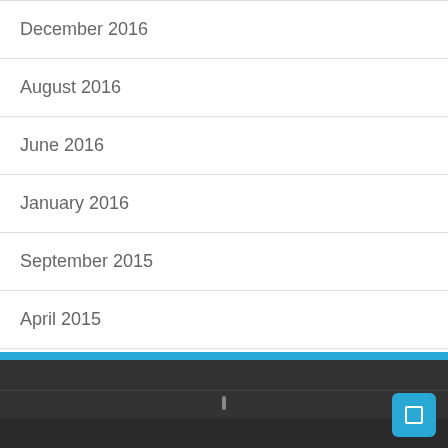December 2016
August 2016
June 2016
January 2016
September 2015
April 2015
February 2015
April 2012